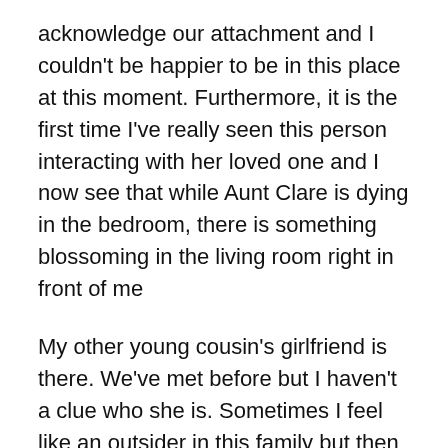acknowledge our attachment and I couldn't be happier to be in this place at this moment. Furthermore, it is the first time I've really seen this person interacting with her loved one and I now see that while Aunt Clare is dying in the bedroom, there is something blossoming in the living room right in front of me
My other young cousin's girlfriend is there. We've met before but I haven't a clue who she is. Sometimes I feel like an outsider in this family but then I suppose she feels the same way. Something about this web of support where everyone is both holding up and being held up. Somehow the ice is broken and it turns out she's totally great and now we're fast friends. Fast friends but true friends.
The whole thing is like the food pyramid of emotional support. I better bring up a picture of that thing because I